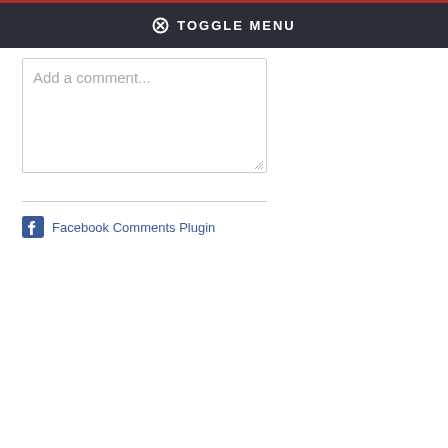TOGGLE MENU
Add a comment...
Facebook Comments Plugin